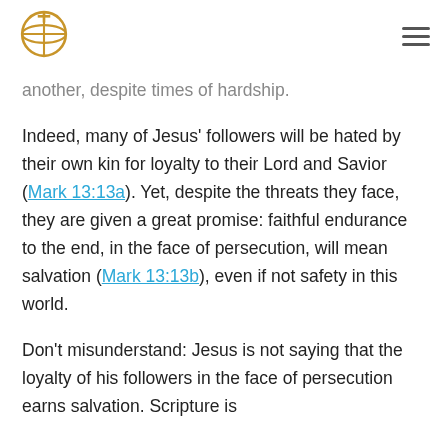[Logo: globe with cross] [hamburger menu icon]
another, despite times of hardship.

Indeed, many of Jesus' followers will be hated by their own kin for loyalty to their Lord and Savior (Mark 13:13a). Yet, despite the threats they face, they are given a great promise: faithful endurance to the end, in the face of persecution, will mean salvation (Mark 13:13b), even if not safety in this world.

Don't misunderstand: Jesus is not saying that the loyalty of his followers in the face of persecution earns salvation. Scripture is